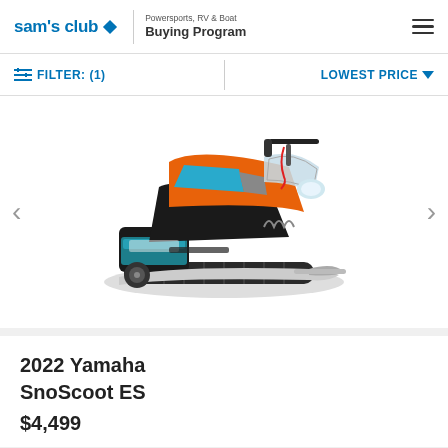sam's club — Powersports, RV & Boat Buying Program
FILTER: (1)   LOWEST PRICE
[Figure (photo): 2022 Yamaha SnoScoot ES snowmobile, orange and black with blue accents, shown on white background with carousel navigation arrows on left and right.]
2022 Yamaha SnoScoot ES
$4,499